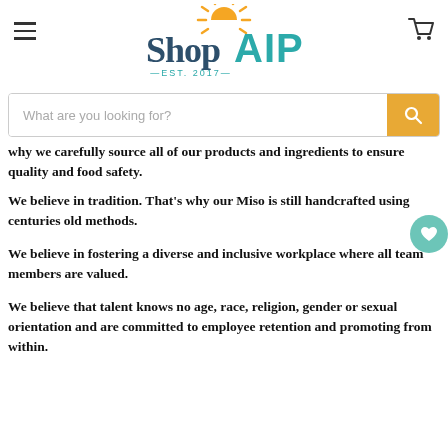[Figure (logo): ShopAIP logo with sun graphic and 'EST. 2017' tagline]
why we carefully source all of our products and ingredients to ensure quality and food safety.
We believe in tradition. That's why our Miso is still handcrafted using centuries old methods.
We believe in fostering a diverse and inclusive workplace where all team members are valued.
We believe that talent knows no age, race, religion, gender or sexual orientation and are committed to employee retention and promoting from within.